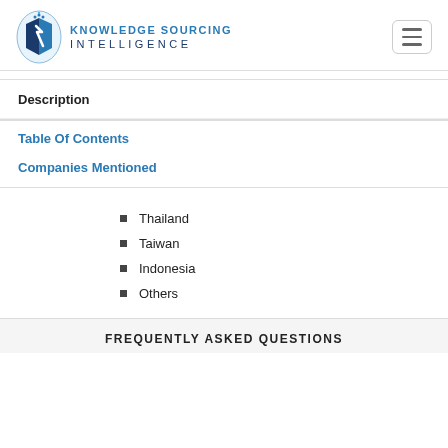[Figure (logo): Knowledge Sourcing Intelligence logo with blue geometric icon and company name]
Description
Table Of Contents
Companies Mentioned
Thailand
Taiwan
Indonesia
Others
FREQUENTLY ASKED QUESTIONS